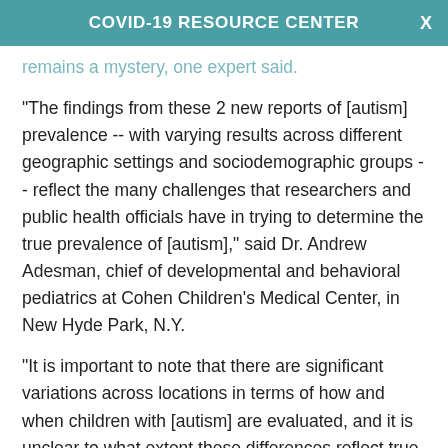COVID-19 RESOURCE CENTER
remains a mystery, one expert said.
"The findings from these 2 new reports of [autism] prevalence -- with varying results across different geographic settings and sociodemographic groups -- reflect the many challenges that researchers and public health officials have in trying to determine the true prevalence of [autism]," said Dr. Andrew Adesman, chief of developmental and behavioral pediatrics at Cohen Children’s Medical Center, in New Hyde Park, N.Y.
"It is important to note that there are significant variations across locations in terms of how and when children with [autism] are evaluated, and it is unclear to what extent these differences reflect true differences in the prevalence of [autism] ...